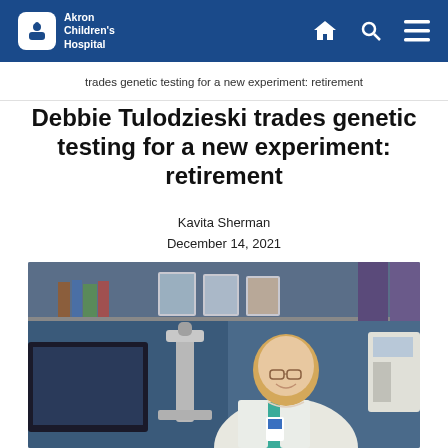Akron Children's Hospital
trades genetic testing for a new experiment: retirement
Debbie Tulodzieski trades genetic testing for a new experiment: retirement
Kavita Sherman
December 14, 2021
[Figure (photo): A woman in a white lab coat with glasses and long blonde hair smiles while sitting at a laboratory desk with a microscope, computer monitor, and shelves with books and photos in the background.]